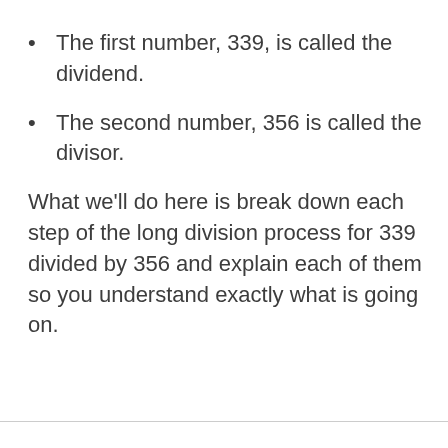The first number, 339, is called the dividend.
The second number, 356 is called the divisor.
What we'll do here is break down each step of the long division process for 339 divided by 356 and explain each of them so you understand exactly what is going on.